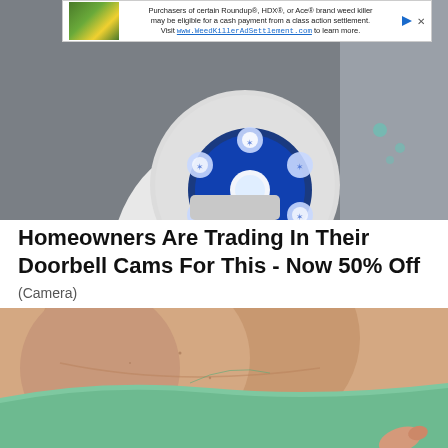[Figure (screenshot): Advertisement banner with thumbnail of yellow flowers and text about Roundup class action settlement]
[Figure (photo): Close-up photo of a white smart security camera with blue LED ring lights glowing on front, mounted indoors against a grey wall]
Homeowners Are Trading In Their Doorbell Cams For This - Now 50% Off
(Camera)
[Figure (photo): Close-up photo of a person's neck and upper chest/shoulder area, wearing a green top, with a hand visible at bottom right]